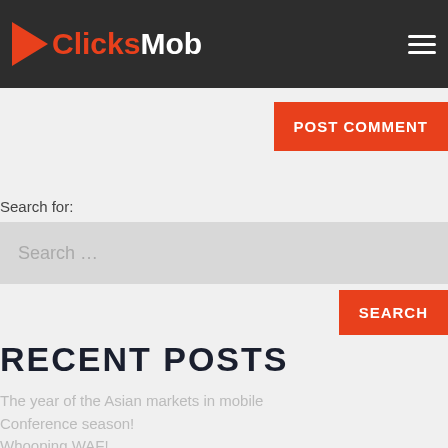Save my name, email, and website in this browser for the next time I comment.
ClicksMob
POST COMMENT
Search for:
Search ...
SEARCH
RECENT POSTS
The year of the Asian markets in mobile
Conference season!
Whooping WAF!
Clicks Mob New Website